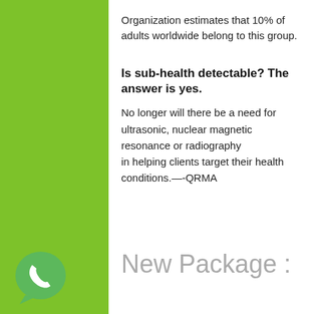Organization estimates that 10% of adults worldwide belong to this group.
Is sub-health detectable? The answer is yes.
No longer will there be a need for ultrasonic, nuclear magnetic resonance or radiography
in helping clients target their health conditions.—-QRMA
New Package :
[Figure (logo): WhatsApp logo — green circle with white phone handset icon]